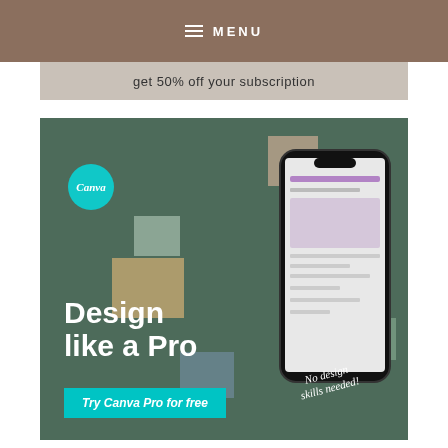≡ MENU
get 50% off your subscription
[Figure (illustration): Canva promotional advertisement showing a smartphone with design app, scattered design cards/templates on a dark green background, Canva logo circle top left, bold white text 'Design like a Pro', teal CTA button 'Try Canva Pro for free', and handwritten annotation 'No design skills needed!']